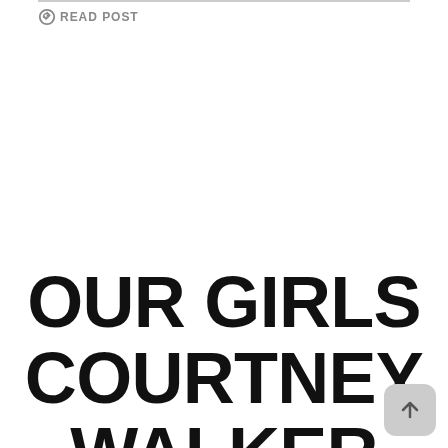READ POST
OUR GIRLS COURTNEY WALKER @WALKERSCOURTNEY